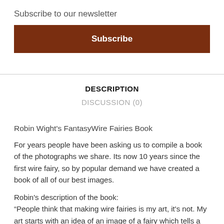Subscribe to our newsletter
Subscribe
DESCRIPTION
DISCUSSION (0)
Robin Wight's FantasyWire Fairies Book
For years people have been asking us to compile a book of the photographs we share. Its now 10 years since the first wire fairy, so by popular demand we have created a book of all of our best images.
Robin's description of the book:
“People think that making wire fairies is my art, it's not. My art starts with an idea of an image of a fairy which tells a story. I make a wire sculpture so I can take the photographs that tell that story. I then present those photographs to the world. To some extend this book